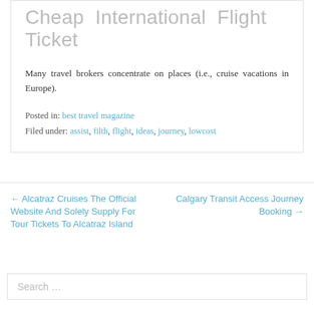Cheap International Flight Ticket
Many travel brokers concentrate on places (i.e., cruise vacations in Europe).
Posted in: best travel magazine
Filed under: assist, filth, flight, ideas, journey, lowcost
← Alcatraz Cruises The Official Website And Solely Supply For Tour Tickets To Alcatraz Island
Calgary Transit Access Journey Booking →
Search …